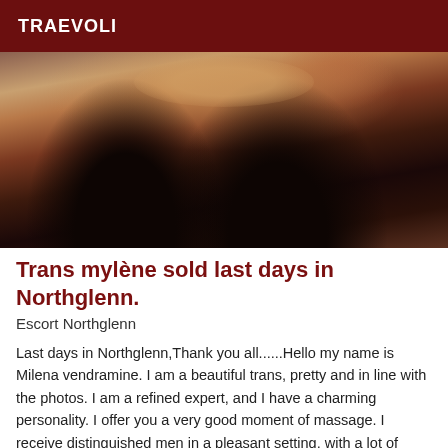TRAEVOLI
[Figure (photo): Photo of a person wearing black stockings, kneeling on a reddish-brown floor, cropped to show legs and torso from behind/side.]
Trans mylène sold last days in Northglenn.
Escort Northglenn
Last days in Northglenn,Thank you all......Hello my name is Milena vendramine. I am a beautiful trans, pretty and in line with the photos. I am a refined expert, and I have a charming personality. I offer you a very good moment of massage. I receive distinguished men in a pleasant setting, with a lot of discretion. I receive you by